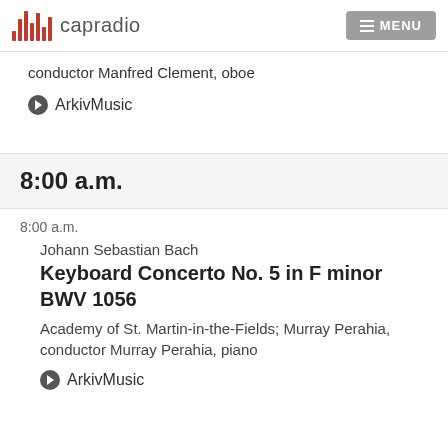capradio | MENU
conductor Manfred Clement, oboe
ArkivMusic
8:00 a.m.
8:00 a.m.
Johann Sebastian Bach
Keyboard Concerto No. 5 in F minor BWV 1056
Academy of St. Martin-in-the-Fields; Murray Perahia, conductor Murray Perahia, piano
ArkivMusic